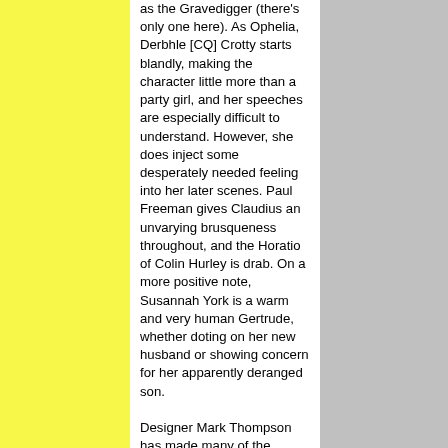as the Gravedigger (there's only one here). As Ophelia, Derbhle [CQ] Crotty starts blandly, making the character little more than a party girl, and her speeches are especially difficult to understand. However, she does inject some desperately needed feeling into her later scenes. Paul Freeman gives Claudius an unvarying brusqueness throughout, and the Horatio of Colin Hurley is drab. On a more positive note, Susannah York is a warm and very human Gertrude, whether doting on her new husband or showing concern for her apparently deranged son.
Designer Mark Thompson has made many of the scenes visually striking. In the most notable of them, the players performing the catch-the-conscience-of-a-king ``Mousetrap'' play are